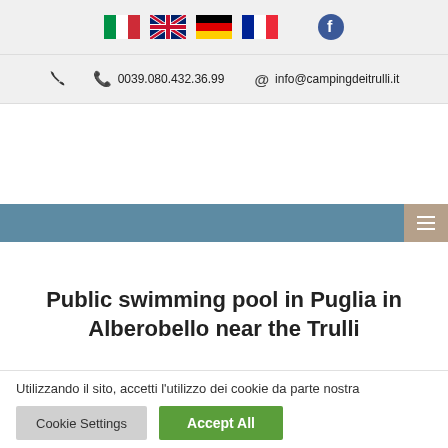[Figure (other): Top navigation bar with language flag icons (Italian, UK, German, French) and Facebook icon]
0039.080.432.36.99   info@campingdeitrulli.it
[Figure (other): Horizontal navigation bar with hamburger menu button on steel blue background]
Public swimming pool in Puglia in Alberobello near the Trulli
Utilizzando il sito, accetti l'utilizzo dei cookie da parte nostra
Cookie Settings   Accept All